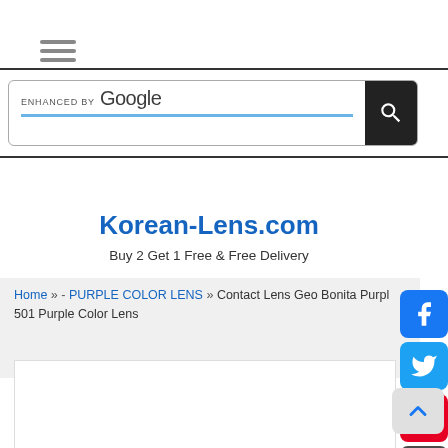[Figure (other): Hamburger menu icon (three horizontal lines)]
[Figure (screenshot): Google custom search bar with 'ENHANCED BY Google' label, search input field with blue underline, and black search button with magnifying glass icon]
Korean-Lens.com
Buy 2 Get 1 Free & Free Delivery
Home » - PURPLE COLOR LENS » Contact Lens Geo Bonita Purple 501 Purple Color Lens
[Figure (other): Facebook, Twitter, Pinterest, and plus social sharing icon buttons on right side]
[Figure (other): Scroll-to-top button with upward chevron arrow]